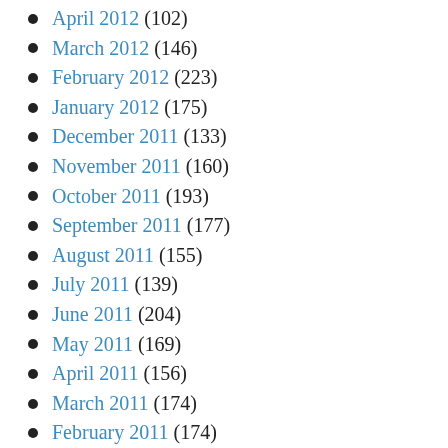April 2012 (102)
March 2012 (146)
February 2012 (223)
January 2012 (175)
December 2011 (133)
November 2011 (160)
October 2011 (193)
September 2011 (177)
August 2011 (155)
July 2011 (139)
June 2011 (204)
May 2011 (169)
April 2011 (156)
March 2011 (174)
February 2011 (174)
January 2011 (275)